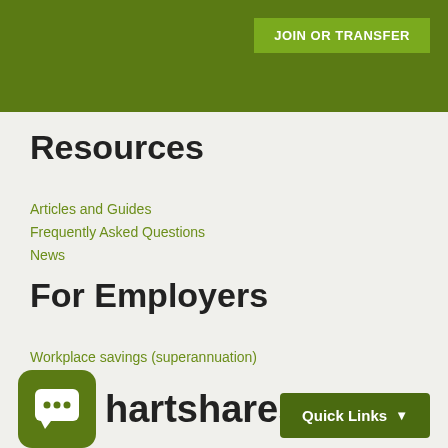JOIN OR TRANSFER
Resources
Articles and Guides
Frequently Asked Questions
News
For Employers
Workplace savings (superannuation)
KiwiSaver
Insurance
[Figure (logo): Chat bubble icon with three dots, green rounded square background]
hartshares
Quick Links